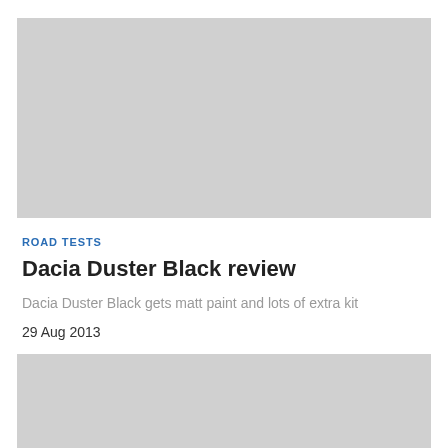[Figure (photo): Top image placeholder — grey rectangle representing a car photo]
ROAD TESTS
Dacia Duster Black review
Dacia Duster Black gets matt paint and lots of extra kit
29 Aug 2013
[Figure (photo): Bottom image placeholder — grey rectangle representing a car photo]